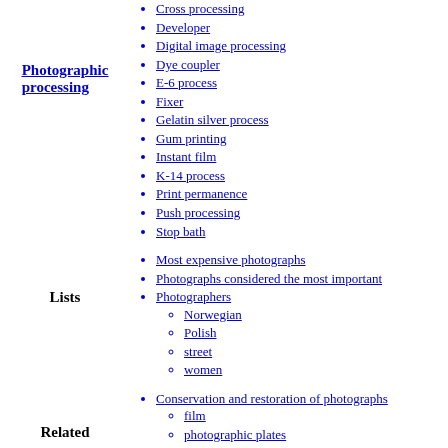Photographic processing
Cross processing
Developer
Digital image processing
Dye coupler
E-6 process
Fixer
Gelatin silver process
Gum printing
Instant film
K-14 process
Print permanence
Push processing
Stop bath
Lists
Most expensive photographs
Photographs considered the most important
Photographers
Norwegian
Polish
street
women
Related
Conservation and restoration of photographs
film
photographic plates